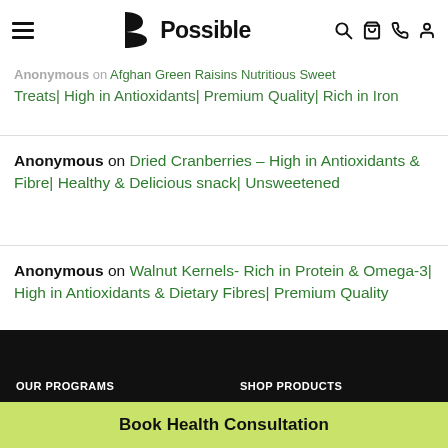Possible
Anonymous on Afghan Green Raisins Nutritious Sweet Treats| High in Antioxidants| Premium Quality| Rich in Iron
Anonymous on Dried Cranberries – High in Antioxidants & Fibre| Healthy & Delicious snack| Unsweetened
Anonymous on Walnut Kernels- Rich in Protein & Omega-3| High in Antioxidants & Dietary Fibres| Premium Quality
Anonymous on Dried Cranberries – High in Antioxidants & Fibre| Healthy & Delicious snack| Unsweetened
OUR PROGRAMS    SHOP PRODUCTS
Book Health Consultation